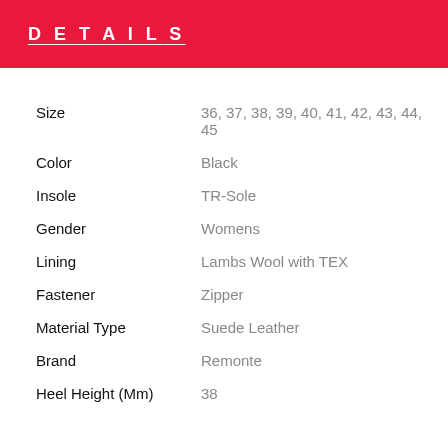DETAILS
| Attribute | Value |
| --- | --- |
| Size | 36, 37, 38, 39, 40, 41, 42, 43, 44, 45 |
| Color | Black |
| Insole | TR-Sole |
| Gender | Womens |
| Lining | Lambs Wool with TEX |
| Fastener | Zipper |
| Material Type | Suede Leather |
| Brand | Remonte |
| Heel Height (Mm) | 38 |